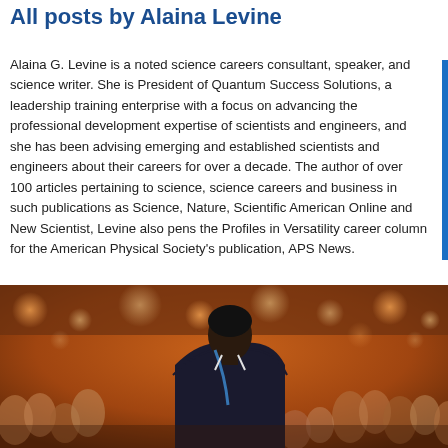All posts by Alaina Levine
Alaina G. Levine is a noted science careers consultant, speaker, and science writer. She is President of Quantum Success Solutions, a leadership training enterprise with a focus on advancing the professional development expertise of scientists and engineers, and she has been advising emerging and established scientists and engineers about their careers for over a decade. The author of over 100 articles pertaining to science, science careers and business in such publications as Science, Nature, Scientific American Online and New Scientist, Levine also pens the Profiles in Versatility career column for the American Physical Society's publication, APS News.
[Figure (photo): A speaker seen from behind standing at a podium or stage, facing a large blurred audience in a conference hall with warm orange and brown tones. The speaker wears a dark suit with a blue lanyard.]